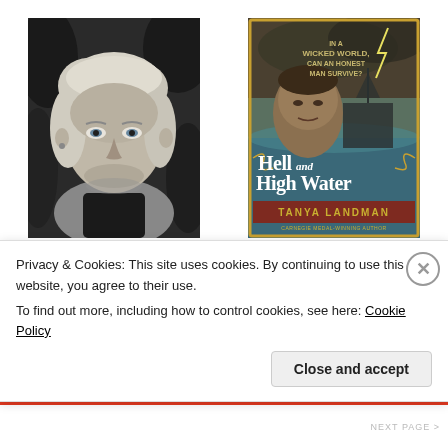[Figure (photo): Black and white portrait photo of author Tanya Landman, a middle-aged woman with short blonde hair, looking toward the camera with a slight smile.]
[Figure (photo): Book cover of 'Hell and High Water' by Tanya Landman. Shows a young mixed-race boy against a stormy sea and ship background, with text 'In a wicked world, can an honest man survive?' at the top and the author name and Carnegie Medal winner designation at the bottom.]
#8 Tanya Landman
Privacy & Cookies: This site uses cookies. By continuing to use this website, you agree to their use.
To find out more, including how to control cookies, see here: Cookie Policy
Close and accept